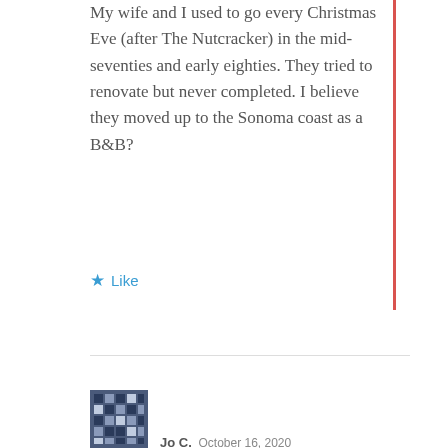My wife and I used to go every Christmas Eve (after The Nutcracker) in the mid-seventies and early eighties. They tried to renovate but never completed. I believe they moved up to the Sonoma coast as a B&B?
★ Like
[Figure (illustration): User avatar - pixelated/mosaic style avatar image in dark blue-gray tones]
Jo C.  October 16, 2020